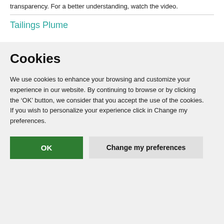transparency. For a better understanding, watch the video.
Tailings Plume
Cookies
We use cookies to enhance your browsing and customize your experience in our website. By continuing to browse or by clicking the ‘OK’ button, we consider that you accept the use of the cookies. If you wish to personalize your experience click in Change my preferences.
OK   Change my preferences